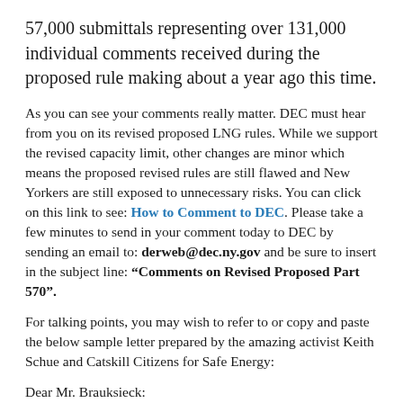57,000 submittals representing over 131,000 individual comments received during the proposed rule making about a year ago this time.
As you can see your comments really matter. DEC must hear from you on its revised proposed LNG rules. While we support the revised capacity limit, other changes are minor which means the proposed revised rules are still flawed and New Yorkers are still exposed to unnecessary risks. You can click on this link to see: How to Comment to DEC. Please take a few minutes to send in your comment today to DEC by sending an email to: derweb@dec.ny.gov and be sure to insert in the subject line: “Comments on Revised Proposed Part 570”.
For talking points, you may wish to refer to or copy and paste the below sample letter prepared by the amazing activist Keith Schue and Catskill Citizens for Safe Energy:
Dear Mr. Brauksieck: